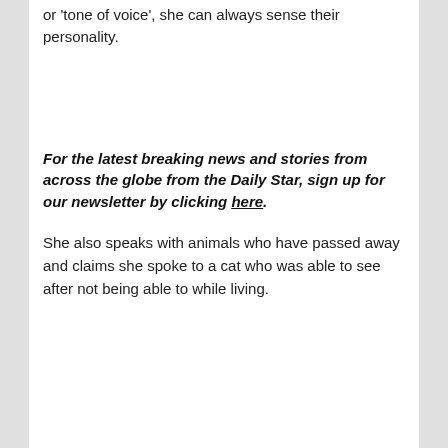or 'tone of voice', she can always sense their personality.
For the latest breaking news and stories from across the globe from the Daily Star, sign up for our newsletter by clicking here.
She also speaks with animals who have passed away and claims she spoke to a cat who was able to see after not being able to while living.